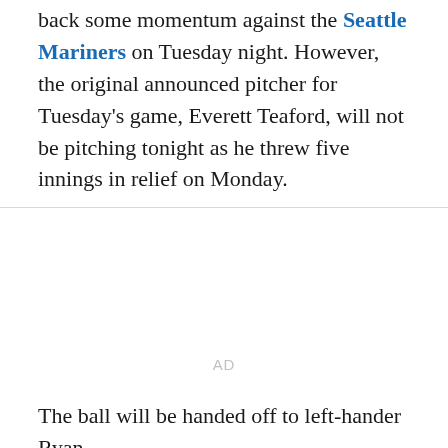back some momentum against the Seattle Mariners on Tuesday night. However, the original announced pitcher for Tuesday's game, Everett Teaford, will not be pitching tonight as he threw five innings in relief on Monday.
AD
The ball will be handed off to left-hander Ryan